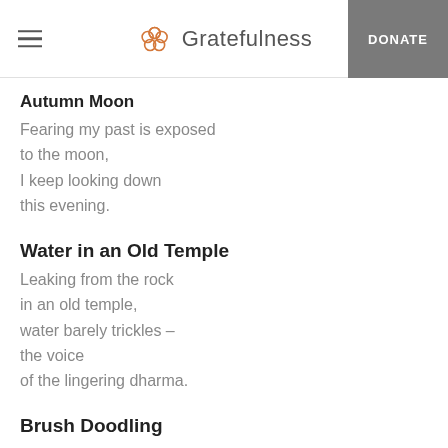Gratefulness | DONATE
Autumn Moon
Fearing my past is exposed
to the moon,
I keep looking down
this evening.
Water in an Old Temple
Leaking from the rock
in an old temple,
water barely trickles –
the voice
of the lingering dharma.
Brush Doodling
Just playing